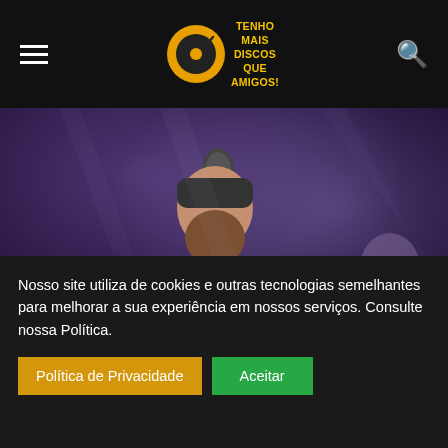TENHO MAIS DISCOS QUE AMIGOS!
[Figure (photo): Male performer with long beard singing into a microphone on stage, wearing a dark short-sleeve shirt, with tattoos visible on his arms. Background shows stage lighting in purple/blue tones and another musician with a guitar visible on the right.]
Nick Oliveri agradece carinho de fãs após
Nosso site utiliza de cookies e outras tecnologias semelhantes para melhorar a sua experiência em nossos serviços. Consulte nossa Política.
Política de Privacidade   Aceitar